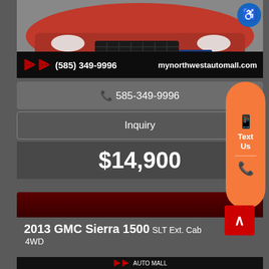[Figure (photo): Front view of a red car (Ford Fusion or similar) with Northwest Auto Mall dealer branding bar showing phone number (585) 349-9996 and website mynorthwestautomall.com]
📞 585-349-9996
Inquiry
$14,900
Text Us
2013 GMC Sierra 1500 SLT Ext. Cab 4WD
[Figure (photo): Bottom portion of next car listing with Northwest Auto Mall dealer logo bar]